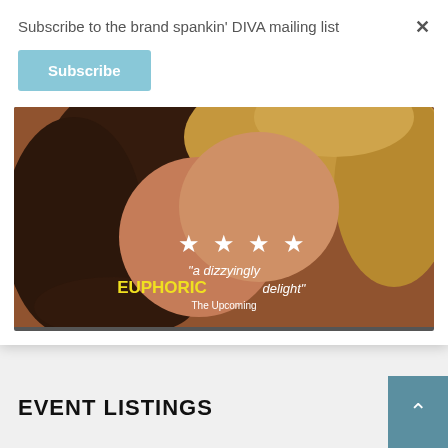Subscribe to the brand spankin' DIVA mailing list
Subscribe
[Figure (photo): Movie poster showing two women about to kiss, with four white stars, quote text '"a dizzyingly EUPHORIC delight"' and attribution 'The Upcoming']
EVENT LISTINGS